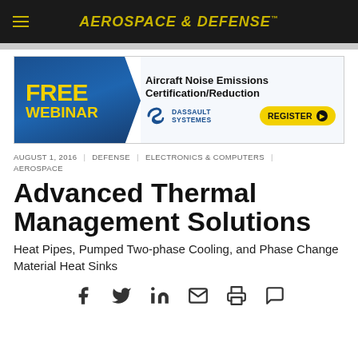AEROSPACE & DEFENSE
[Figure (other): Free Webinar advertisement banner for Aircraft Noise Emissions Certification/Reduction by Dassault Systemes with REGISTER button]
AUGUST 1, 2016 | DEFENSE | ELECTRONICS & COMPUTERS | AEROSPACE
Advanced Thermal Management Solutions
Heat Pipes, Pumped Two-phase Cooling, and Phase Change Material Heat Sinks
[Figure (other): Social sharing icons: Facebook, Twitter, LinkedIn, Email, Print, Comment]